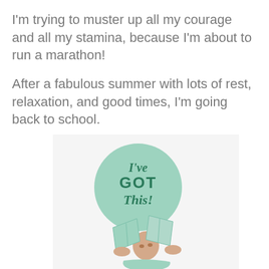I'm trying to muster up all my courage and all my stamina, because I'm about to run a marathon!
After a fabulous summer with lots of rest, relaxation, and good times, I'm going back to school.
[Figure (illustration): A woman holding open books over her head, with a mint green circular badge overlaid reading 'I've GOT This!' in decorative text. The overall color palette is mint green and white.]